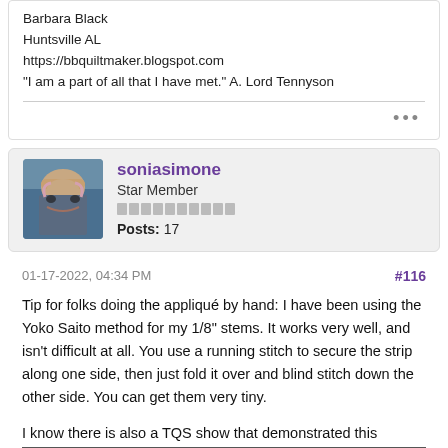Barbara Black
Huntsville AL
https://bbquiltmaker.blogspot.com
"I am a part of all that I have met." A. Lord Tennyson
soniasimone
Star Member
Posts: 17
01-17-2022, 04:34 PM
#116
Tip for folks doing the appliqué by hand: I have been using the Yoko Saito method for my 1/8" stems. It works very well, and isn't difficult at all. You use a running stitch to secure the strip along one side, then just fold it over and blind stitch down the other side. You can get them very tiny.
I know there is also a TQS show that demonstrated this